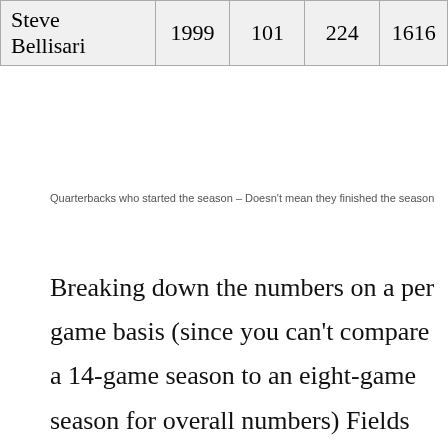| Player | Year | Col3 | Col4 | Col5 |
| --- | --- | --- | --- | --- |
| Steve Bellisari | 1999 | 101 | 224 | 1616 |
Quarterbacks who started the season – Doesn't mean they finished the season
Breaking down the numbers on a per game basis (since you can't compare a 14-game season to an eight-game season for overall numbers) Fields attempted and completed about three more passes per game and saw his overall completion percentage go up from 67.2-percent to 70.2-percent. That bump also